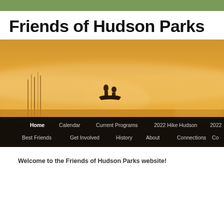Friends of Hudson Parks
[Figure (photo): Misty golden sunrise scene of two people in a small boat on a calm lake or river, surrounded by warm amber haze and fog. Below the photo is a black navigation bar with menu items: Home, Calendar, Current Programs, 2022 Hike Hudson, 2022..., Best Friends, Get Involved, History, About, Connections, Co...]
Welcome to the Friends of Hudson Parks website!